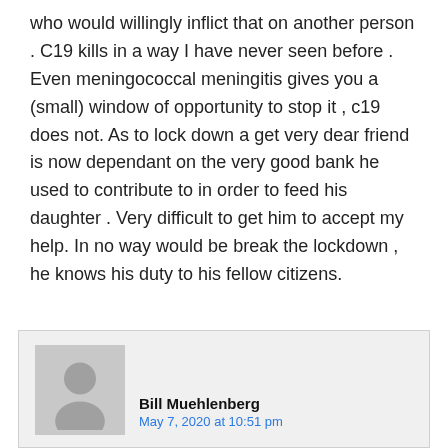who would willingly inflict that on another person . C19 kills in a way I have never seen before . Even meningococcal meningitis gives you a (small) window of opportunity to stop it , c19 does not. As to lock down a get very dear friend is now dependant on the very good bank he used to contribute to in order to feed his daughter . Very difficult to get him to accept my help. In no way would be break the lockdown , he knows his duty to his fellow citizens.
[Figure (photo): User avatar placeholder showing a silhouette of a person on a grey background]
Bill Muehlenberg
May 7, 2020 at 10:51 pm